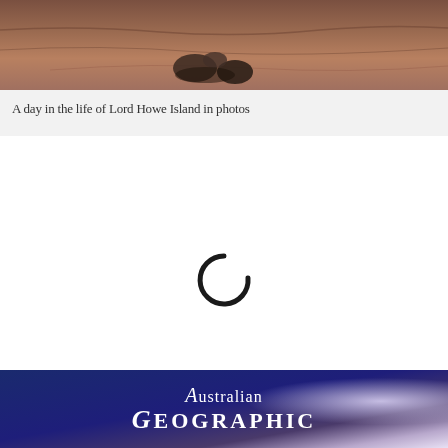[Figure (photo): Aerial or close-up photo of rocky terrain on Lord Howe Island, showing reddish-brown rocky surface with stones]
A day in the life of Lord Howe Island in photos
[Figure (other): Loading spinner (circular arc icon) indicating content is loading]
[Figure (logo): Australian Geographic logo on dark blue and purple gradient background]